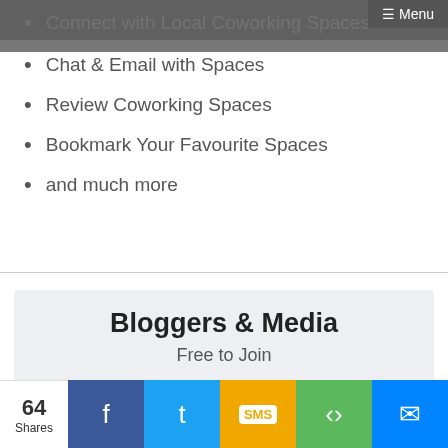Connect with Local Coworking Spaces
Chat & Email with Spaces
Review Coworking Spaces
Bookmark Your Favourite Spaces
and much more
Bloggers & Media
Free to Join
Click to Join Now
64 Shares